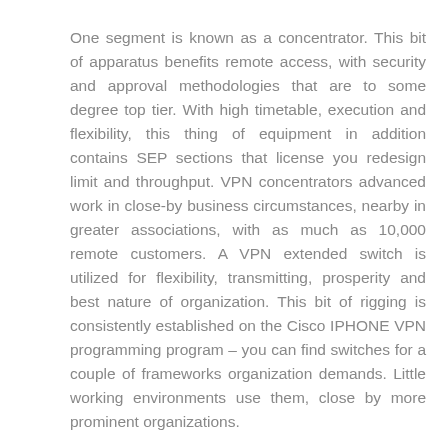One segment is known as a concentrator. This bit of apparatus benefits remote access, with security and approval methodologies that are to some degree top tier. With high timetable, execution and flexibility, this thing of equipment in addition contains SEP sections that license you redesign limit and throughput. VPN concentrators advanced work in close-by business circumstances, nearby in greater associations, with as much as 10,000 remote customers. A VPN extended switch is utilized for flexibility, transmitting, prosperity and best nature of organization. This bit of rigging is consistently established on the Cisco IPHONE VPN programming program – you can find switches for a couple of frameworks organization demands. Little working environments use them, close by more prominent organizations.
In case you are setting up a virtual private framework, you are in like manner going to require a verified PIX